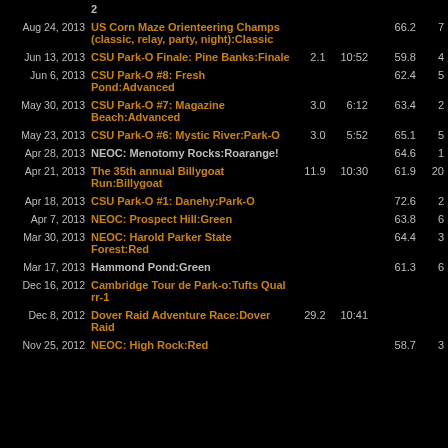| Date | Event | Dist | Time | Score | Place |
| --- | --- | --- | --- | --- | --- |
|  | 2 |  |  |  |  |
| Aug 24, 2013 | US Corn Maze Orienteering Champs (classic, relay, party, night):Classic |  |  | 66.2 | 7 |
| Jun 13, 2013 | CSU Park-O Finale: Pine Banks:Finale | 2.1 | 10:52 | 59.8 | 4 |
| Jun 6, 2013 | CSU Park-O #8: Fresh Pond:Advanced |  |  | 62.4 | 5 |
| May 30, 2013 | CSU Park-O #7: Magazine Beach:Advanced | 3.0 | 6:12 | 63.4 | 2 |
| May 23, 2013 | CSU Park-O #6: Mystic River:Park-O | 3.0 | 5:52 | 65.1 | 5 |
| Apr 28, 2013 | NEOC: Menotomy Rocks:Roarange! |  |  | 64.6 | 1 |
| Apr 21, 2013 | The 35th annual Billygoat Run:Billygoat | 11.9 | 10:30 | 61.9 | 20 |
| Apr 18, 2013 | CSU Park-O #1: Danehy:Park-O |  |  | 72.6 | 2 |
| Apr 7, 2013 | NEOC: Prospect Hill:Green |  |  | 63.8 | 6 |
| Mar 30, 2013 | NEOC: Harold Parker State Forest:Red |  |  | 64.4 | 3 |
| Mar 17, 2013 | Hammond Pond:Green |  |  | 61.3 | 6 |
| Dec 16, 2012 | Cambridge Tour de Park-o:Tufts Qual rr-1 |  |  |  |  |
| Dec 8, 2012 | Dover Raid Adventure Race:Dover Raid | 29.2 | 10:41 |  |  |
| Nov 25, 2012 | NEOC: High Rock:Red |  |  | 58.7 | 3 |